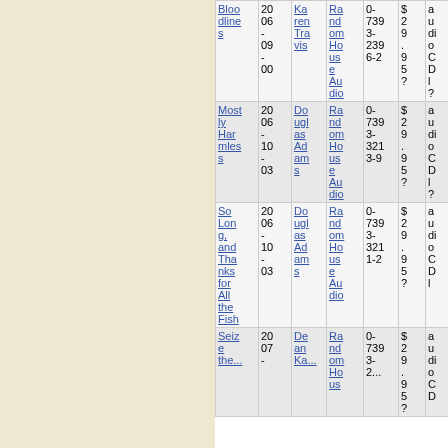| Title | Year | Author | Format | ISBN | Price | Media | narrator |
| --- | --- | --- | --- | --- | --- | --- | --- |
| Bloodlines | 2006-09-00 | Karen Travis | Random House Audio | 0-7393-2396-2 | $29.95? | audio novel CD l? | Jason Felix |
| Mostly Harmless | 2006-10-03 | Douglas Adams | Random House Audio | 0-7393-2193-9 | $29.95? | audio novel CD l? |  |
| So Long, and Thanks for All the Fish | 2006-10-03 | Douglas Adams | Random House Audio | 0-7393-2211-2 | $29.95? | audio novel CD l |  |
| Seize the... | 2007 | Dean Ka... | Random House Audio | 0-7393-2... | $29.95? | audio nov... |  |